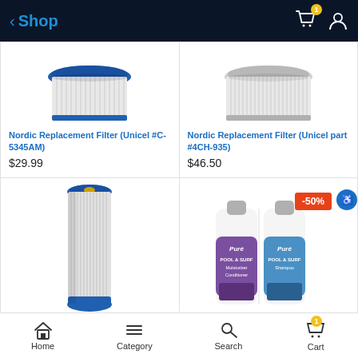Shop
[Figure (photo): Top portion of a Nordic pool/spa replacement filter cartridge with blue rim, model Unicel #C-5345AM]
Nordic Replacement Filter (Unicel #C-5345AM)
$29.99
[Figure (photo): Top portion of a Nordic pool/spa replacement filter cartridge, model Unicel part #4CH-935]
Nordic Replacement Filter (Unicel part #4CH-935)
$46.50
[Figure (photo): Full cylindrical Nordic pool filter cartridge standing upright, white pleated filter media with blue cap]
[Figure (photo): Two Pure Pool & Surf product bottles (Moisturizer Conditioner in purple label and Shampoo in blue label) with -50% discount badge]
Home  Category  Search  Cart